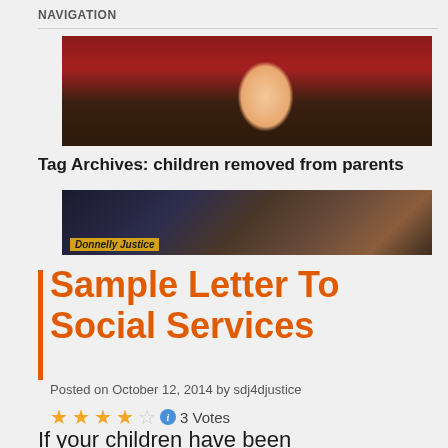NAVIGATION
[Figure (photo): Photo of a young blond child in what appears to be a courtroom setting with a red flag and gavel visible]
Tag Archives: children removed from parents
[Figure (photo): Dark photo with 'Donnelly Justice' label overlay, showing a figure in black robe]
Sample Letter To Social Services
Posted on October 12, 2014 by sdj4djustice
3 Votes
If your children have been